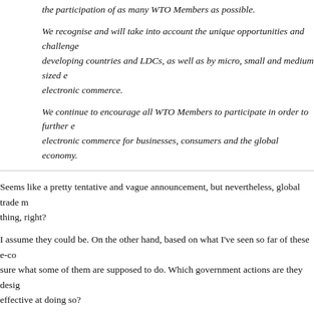the participation of as many WTO Members as possible.
We recognise and will take into account the unique opportunities and challenges faced by developing countries and LDCs, as well as by micro, small and medium sized enterprises in electronic commerce.
We continue to encourage all WTO Members to participate in order to further expand electronic commerce for businesses, consumers and the global economy.
Seems like a pretty tentative and vague announcement, but nevertheless, global trade matters thing, right?
I assume they could be. On the other hand, based on what I've seen so far of these e-commerce sure what some of them are supposed to do. Which government actions are they designed to address, and are they effective at doing so?
The EU press release on this gives the following details:
WTO rules on e-commerce will aim to enhance opportunities and address challenges for both developed and developing countries. The negotiations should result in a multilateral set of rules consumers and businesses, especially smaller ones, could rely on to make it easier to do business across borders in the digital economy.